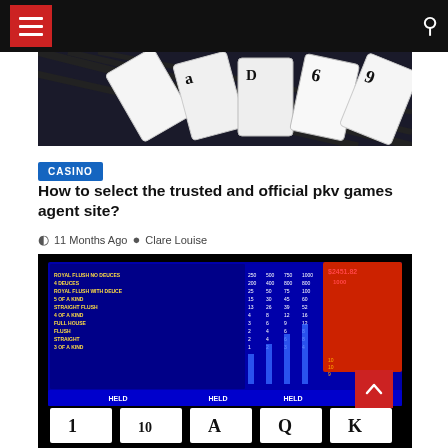Navigation header with menu button and search icon
[Figure (photo): Playing cards fanned out on dark surface, showing card faces with numbers and suits]
CASINO
How to select the trusted and official pkv games agent site?
11 Months Ago  Clare Louise
[Figure (screenshot): Video poker machine screen showing pay table with poker hands and payouts, HELD cards at bottom showing 1, 10, A, Q, K]